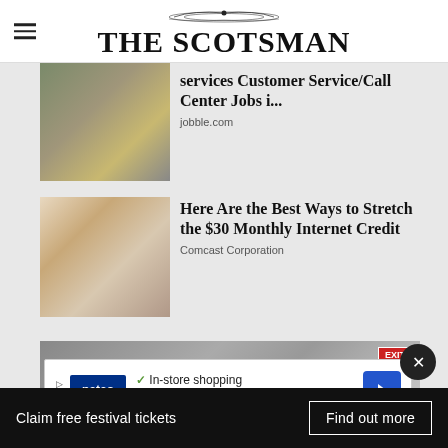THE SCOTSMAN
[Figure (photo): Worker in yellow vest in industrial/warehouse setting]
services Customer Service/Call Center Jobs i...
jobble.com
[Figure (photo): Adult and child looking at laptop together]
Here Are the Best Ways to Stretch the $30 Monthly Internet Credit
Comcast Corporation
[Figure (photo): Interior scene with EXIT sign visible]
[Figure (infographic): Petco advertisement: In-store shopping, Curbside pickup]
Claim free festival tickets
Find out more